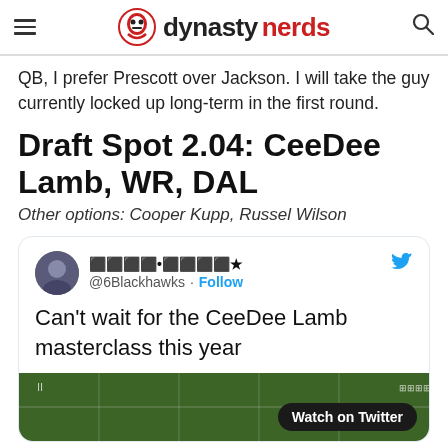dynasty nerds
QB, I prefer Prescott over Jackson. I will take the guy currently locked up long-term in the first round.
Draft Spot 2.04: CeeDee Lamb, WR, DAL
Other options: Cooper Kupp, Russel Wilson
[Figure (screenshot): Embedded tweet from @6Blackhawks with text 'Can't wait for the CeeDee Lamb masterclass this year' and a video thumbnail of a football field with 'Watch on Twitter' button]